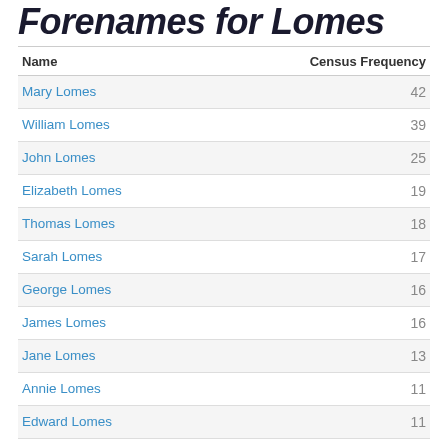Forenames for Lomes
| Name | Census Frequency |
| --- | --- |
| Mary Lomes | 42 |
| William Lomes | 39 |
| John Lomes | 25 |
| Elizabeth Lomes | 19 |
| Thomas Lomes | 18 |
| Sarah Lomes | 17 |
| George Lomes | 16 |
| James Lomes | 16 |
| Jane Lomes | 13 |
| Annie Lomes | 11 |
| Edward Lomes | 11 |